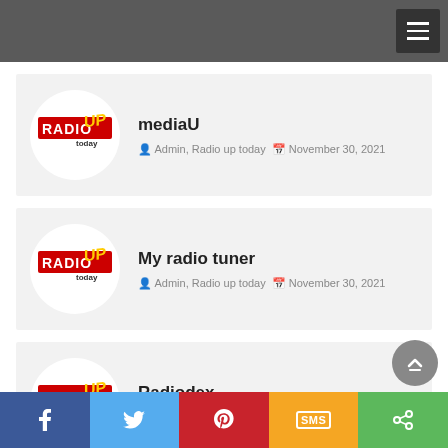Navigation menu
mediaU
Admin, Radio up today  November 30, 2021
My radio tuner
Admin, Radio up today  November 30, 2021
Radiodex
Admin, Radio up today  November 30, 2021
f  Twitter  Pinterest  SMS  Share